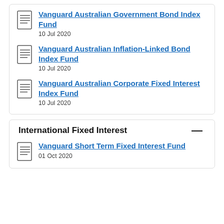Vanguard Australian Government Bond Index Fund
10 Jul 2020
Vanguard Australian Inflation-Linked Bond Index Fund
10 Jul 2020
Vanguard Australian Corporate Fixed Interest Index Fund
10 Jul 2020
International Fixed Interest
Vanguard Short Term Fixed Interest Fund
01 Oct 2020